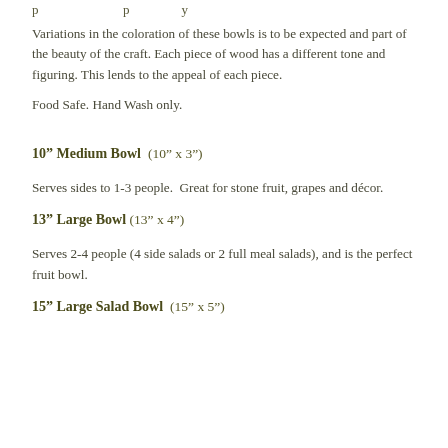Variations in the coloration of these bowls is to be expected and part of the beauty of the craft. Each piece of wood has a different tone and figuring. This lends to the appeal of each piece.
Food Safe. Hand Wash only.
10” Medium Bowl  (10” x 3”)
Serves sides to 1-3 people.  Great for stone fruit, grapes and décor.
13” Large Bowl  (13” x 4”)
Serves 2-4 people (4 side salads or 2 full meal salads), and is the perfect fruit bowl.
15” Large Salad Bowl  (15” x 5”)